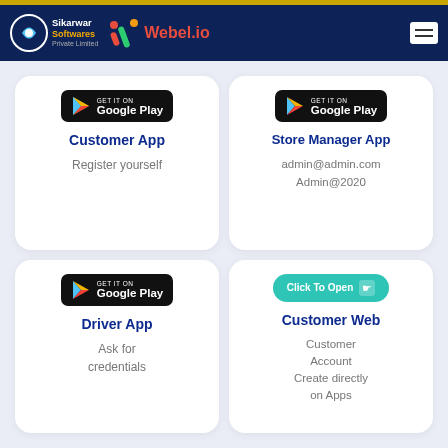Sikarwar Softwares Private Limited | Webel.io
[Figure (screenshot): Customer App card with Google Play badge, title 'Customer App', text 'Register yourself']
[Figure (screenshot): Store Manager App card with Google Play badge, title 'Store Manager App', credentials 'admin@admin.com Admin@2020']
[Figure (screenshot): Driver App card with Google Play badge, title 'Driver App', text 'Ask for credentials']
[Figure (screenshot): Customer Web card with Click To Open button, title 'Customer Web', text 'Customer Account Create directly on Apps']